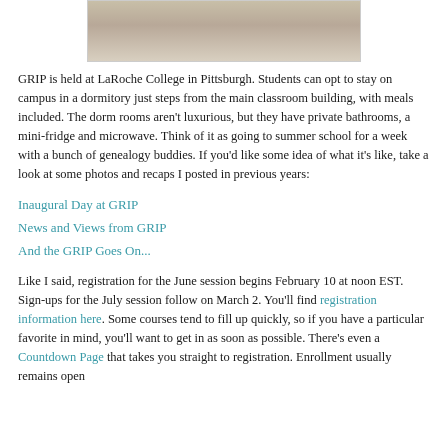[Figure (photo): Partial photo of a desk/classroom scene at LaRoche College, cropped at top]
GRIP is held at LaRoche College in Pittsburgh. Students can opt to stay on campus in a dormitory just steps from the main classroom building, with meals included. The dorm rooms aren't luxurious, but they have private bathrooms, a mini-fridge and microwave. Think of it as going to summer school for a week with a bunch of genealogy buddies. If you'd like some idea of what it's like, take a look at some photos and recaps I posted in previous years:
Inaugural Day at GRIP
News and Views from GRIP
And the GRIP Goes On...
Like I said, registration for the June session begins February 10 at noon EST. Sign-ups for the July session follow on March 2. You'll find registration information here. Some courses tend to fill up quickly, so if you have a particular favorite in mind, you'll want to get in as soon as possible. There's even a Countdown Page that takes you straight to registration. Enrollment usually remains open